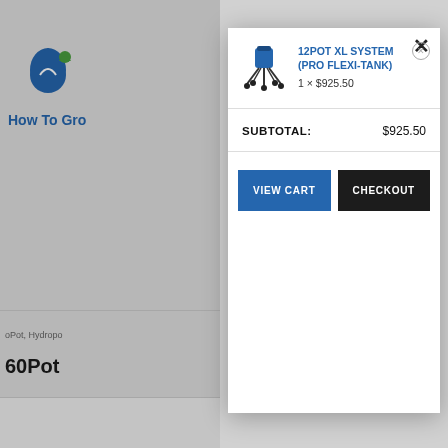[Figure (screenshot): Background website showing How To Grow hydroponics store with logo, navigation, and product listing for 60Pot system at $3,37x]
[Figure (screenshot): Shopping cart modal popup overlay showing cart item, subtotal, and action buttons]
12POT XL SYSTEM (PRO FLEXI-TANK)
1 × $925.50
SUBTOTAL: $925.50
VIEW CART
CHECKOUT